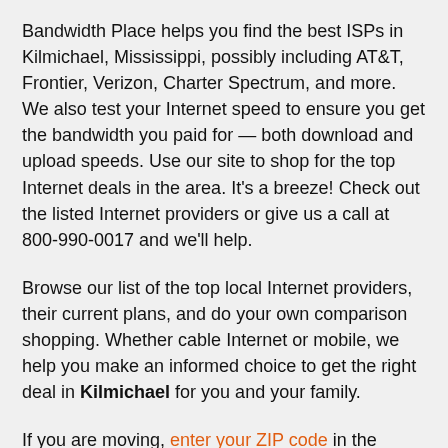Bandwidth Place helps you find the best ISPs in Kilmichael, Mississippi, possibly including AT&T, Frontier, Verizon, Charter Spectrum, and more. We also test your Internet speed to ensure you get the bandwidth you paid for — both download and upload speeds. Use our site to shop for the top Internet deals in the area. It's a breeze! Check out the listed Internet providers or give us a call at 800-990-0017 and we'll help.
Browse our list of the top local Internet providers, their current plans, and do your own comparison shopping. Whether cable Internet or mobile, we help you make an informed choice to get the right deal in Kilmichael for you and your family.
If you are moving, enter your ZIP code in the search box to find the best Internet service providers in your new area!